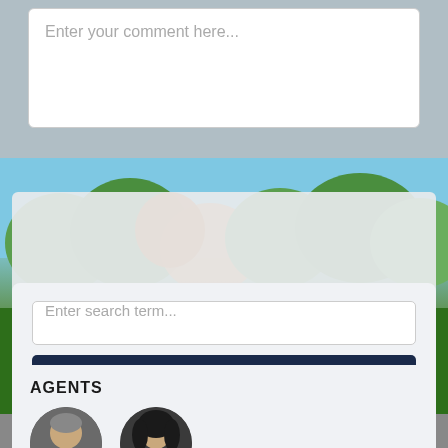Enter your comment here...
[Figure (photo): Outdoor nature scene with autumn trees, pond/lake, and green grass landscape background]
Enter search term...
Search
AGENTS
[Figure (photo): Two real estate agent headshots, male and female, shown at bottom of page]